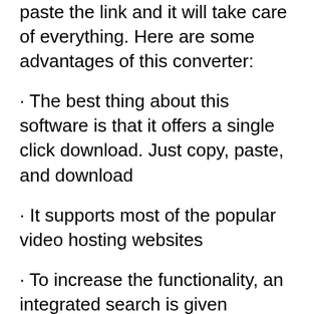paste the link and it will take care of everything. Here are some advantages of this converter:
· The best thing about this software is that it offers a single click download. Just copy, paste, and download
· It supports most of the popular video hosting websites
· To increase the functionality, an integrated search is given
That's why we think that ClipGrab is one of the best Youtube to MP3 converters.